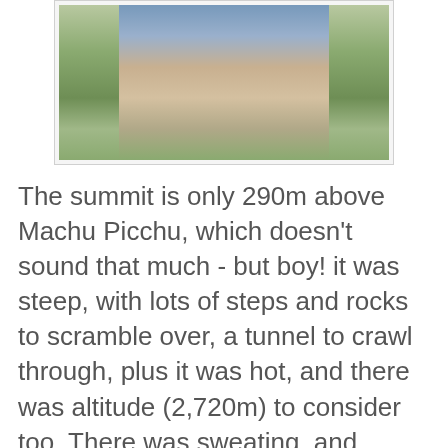[Figure (photo): Person holding a US passport at Machu Picchu area, mountains in background]
The summit is only 290m above Machu Picchu, which doesn't sound that much - but boy! it was steep, with lots of steps and rocks to scramble over, a tunnel to crawl through, plus it was hot, and there was altitude (2,720m) to consider too. There was sweating, and fogging-up of glasses. I was proud to have done it, though, and the view of course was terrific, over Machu Picchu itself so far below, and the surrounding mountains.
[Figure (photo): View of Machu Picchu ruins with terraces, stone structures with thatched roofs, and green mountains in the background]